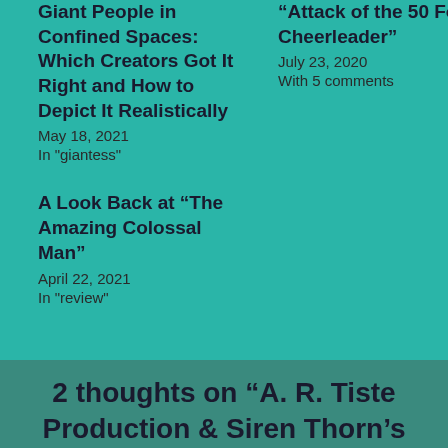Giant People in Confined Spaces: Which Creators Got It Right and How to Depict It Realistically
May 18, 2021
In "giantess"
"Attack of the 50 Foot Cheerleader"
July 23, 2020
With 5 comments
A Look Back at “The Amazing Colossal Man”
April 22, 2021
In "review"
2 thoughts on “A. R. Tiste Production & Siren Thorn’s “Attack